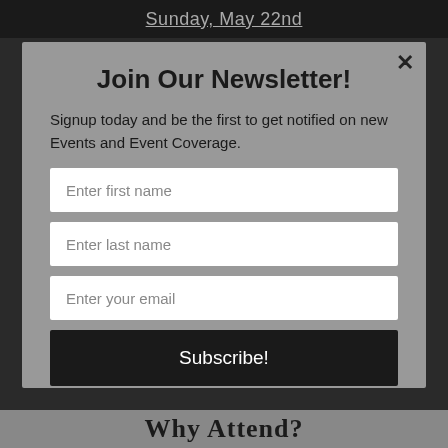Sunday, May 22nd
Join Our Newsletter!
Signup today and be the first to get notified on new Events and Event Coverage.
[Figure (screenshot): Newsletter signup form with fields for first name, last name, email, and a Subscribe button]
powered by MailMunch
Why Attend?